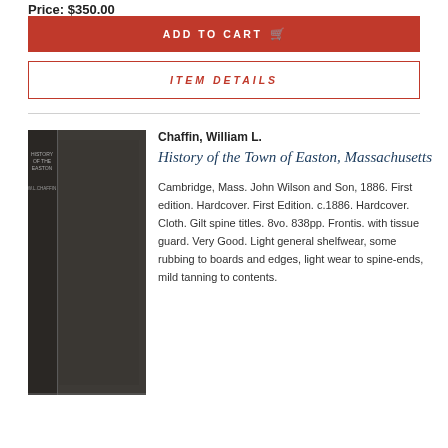Price: $350.00
ADD TO CART
ITEM DETAILS
[Figure (photo): Photo of a dark cloth-bound hardcover book showing spine and front cover, titled History of the Town of Easton Massachusetts by W.L. Chaffin]
Chaffin, William L.
History of the Town of Easton, Massachusetts
Cambridge, Mass. John Wilson and Son, 1886. First edition. Hardcover. First Edition. c.1886. Hardcover. Cloth. Gilt spine titles. 8vo. 838pp. Frontis. with tissue guard. Very Good. Light general shelfwear, some rubbing to boards and edges, light wear to spine-ends, mild tanning to contents.